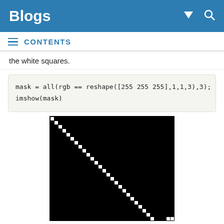Blogs
CONTENTS
the white squares.
mask = all(rgb == reshape([255 255 255],1,1,3),3);
imshow(mask)
[Figure (photo): A black image with a diagonal line of small white squares running from the upper-left corner toward the lower-right corner, produced by the imshow(mask) command.]